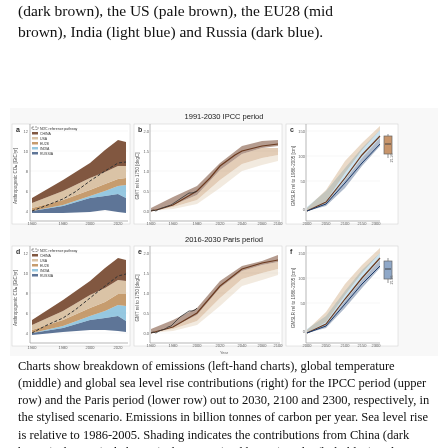(dark brown), the US (pale brown), the EU28 (mid brown), India (light blue) and Russia (dark blue).
[Figure (continuous-plot): Six panel figure showing: (a,d) anthropogenic CO2 emissions breakdown by country/region (NDC reference pathway, China, USA, EU28, India, Russia) from 1960-2030; (b,e) GMT relative to 1750 in degC from 1900-2100; (c,f) GMSLR relative to 1986-2005 in cm from 2000-2300. Top row (a,b,c) is for 1991-2030 IPCC period, bottom row (d,e,f) is for 2016-2030 Paris period. Shading shows contributions from individual countries.]
Charts show breakdown of emissions (left-hand charts), global temperature (middle) and global sea level rise contributions (right) for the IPCC period (upper row) and the Paris period (lower row) out to 2030, 2100 and 2300, respectively, in the stylised scenario. Emissions in billion tonnes of carbon per year. Sea level rise is relative to 1986-2005. Shading indicates the contributions from China (dark brown), the US (pale brown), the EU28 (mid brown), India (light blue) and Russia (dark blue).